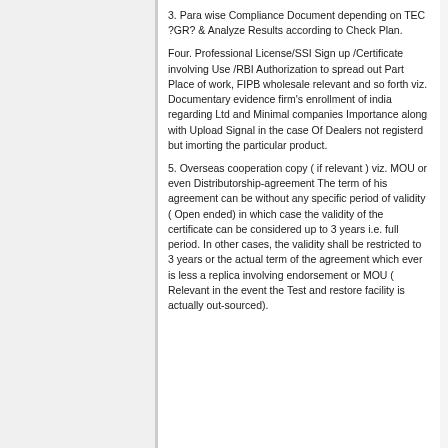3. Para wise Compliance Document depending on TEC ?GR? & Analyze Results according to Check Plan.
Four. Professional License/SSI Sign up /Certificate involving Use /RBI Authorization to spread out Part Place of work, FIPB wholesale relevant and so forth viz. Documentary evidence firm's enrollment of india regarding Ltd and Minimal companies Importance along with Upload Signal in the case Of Dealers not registerd but imorting the particular product.
5. Overseas cooperation copy ( if relevant ) viz. MOU or even Distributorship-agreement The term of his agreement can be without any specific period of validity ( Open ended) in which case the validity of the certificate can be considered up to 3 years i.e. full period. In other cases, the validity shall be restricted to 3 years or the actual term of the agreement which ever is less a replica involving endorsement or MOU ( Relevant in the event the Test and restore facility is actually out-sourced).